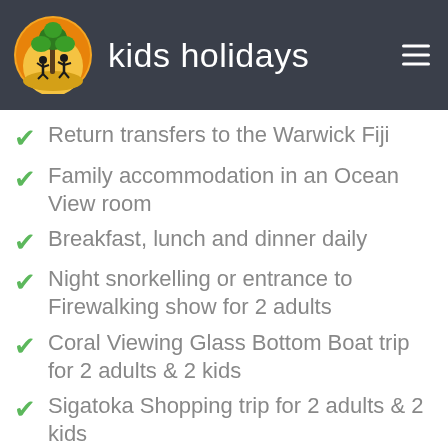kids holidays
Return transfers to the Warwick Fiji
Family accommodation in an Ocean View room
Breakfast, lunch and dinner daily
Night snorkelling or entrance to Firewalking show for 2 adults
Coral Viewing Glass Bottom Boat trip for 2 adults & 2 kids
Sigatoka Shopping trip for 2 adults & 2 kids
Biausevu Waterfall trip for 2 adults & 2 kids
Two kids U/13 stay & eat free from the